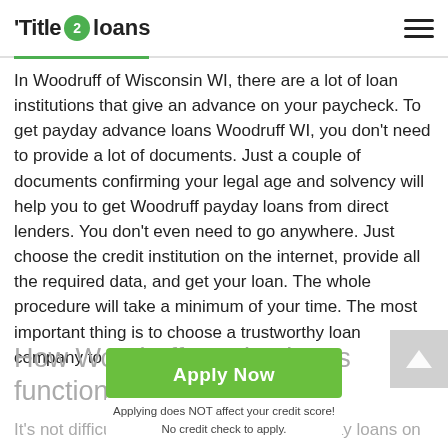Title 2 loans
In Woodruff of Wisconsin WI, there are a lot of loan institutions that give an advance on your paycheck. To get payday advance loans Woodruff WI, you don't need to provide a lot of documents. Just a couple of documents confirming your legal age and solvency will help you to get Woodruff payday loans from direct lenders. You don't even need to go anywhere. Just choose the credit institution on the internet, provide all the required data, and get your loan. The whole procedure will take a minimum of your time. The most important thing is to choose a trustworthy loan company to get qualified services.
How Woodruff payday loans function?
Apply Now
Applying does NOT affect your credit score!
No credit check to apply.
It's not difficult to obtain the Woodruff payday loans on your card. The easiest method to do this is to apply for a